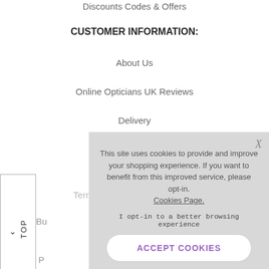Discounts Codes & Offers
CUSTOMER INFORMATION:
About Us
Online Opticians UK Reviews
Delivery
Contact Us
FAQs
Terms & Conditions (partial)
Bu... (partial, behind overlay)
P... (partial, cut off)
[Figure (screenshot): Cookie consent popup overlay with text: 'This site uses cookies to provide and improve your shopping experience. If you want to benefit from this improved service, please opt-in. Cookies Page.' and button 'ACCEPT COOKIES']
^ TOP (vertical button on left side)